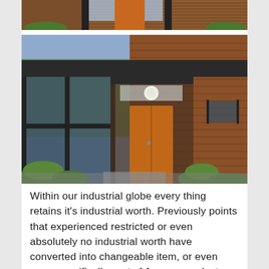[Figure (photo): Partial top view of a modern house exterior with wood siding, dark frames, and orange cylindrical door element, with green plants visible]
[Figure (photo): Modern house exterior featuring horizontal wood siding in dark brown, large floor-to-ceiling glass windows with dark frames, an orange cylindrical front door, and landscaping with green shrubs]
Within our industrial globe every thing retains it's industrial worth. Previously points that experienced restricted or even absolutely no industrial worth have converted into changeable item, or even more specifically cost of 1 super product